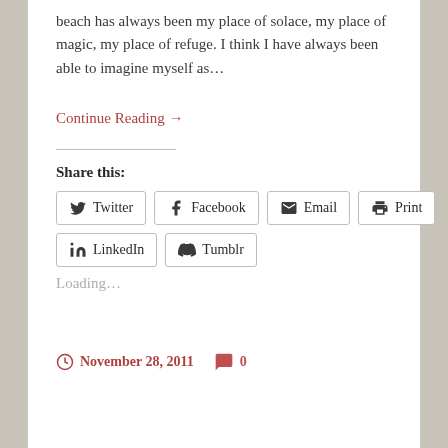beach has always been my place of solace, my place of magic, my place of refuge. I think I have always been able to imagine myself as…
Continue Reading →
Share this:
Loading…
November 28, 2011   0